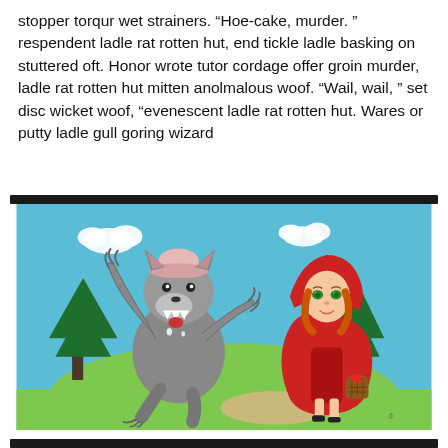stopper torqur wet strainers. “Hoe-cake, murder. ” respendent ladle rat rotten hut, end tickle ladle basking on stuttered oft. Honor wrote tutor cordage offer groin murder, ladle rat rotten hut mitten anolmalous woof. “Wail, wail, ” set disc wicket woof, “evenescent ladle rat rotten hut. Wares or putty ladle gull goring wizard
[Figure (illustration): Cartoon illustration of a wolf wearing a hat being startled or scared, facing a girl in a red riding hood cape carrying a basket. Forest and sky background. Little Red Riding Hood themed cartoon.]